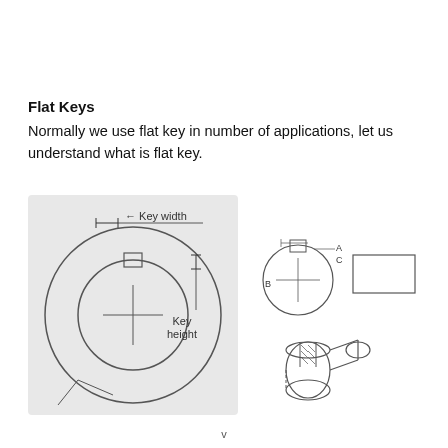Flat Keys
Normally we use flat key in number of applications, let us understand what is flat key.
[Figure (engineering-diagram): Engineering diagram showing flat key dimensions: left diagram shows front view of a shaft collar with a square key seat, labeled with 'Key width' (horizontal arrow) and 'Key height' (vertical arrow). Right side shows two additional views: a cross-section circle with a key protruding at top labeled with letters A, B, C, and a rectangular side view of the key, plus a 3D perspective illustration of a cylindrical shaft with a flat key slot.]
v